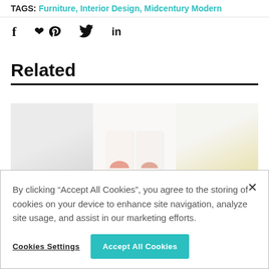TAGS: Furniture, Interior Design, Midcentury Modern
[Figure (other): Social sharing icons: Facebook (f), Pinterest (P), Twitter (bird), LinkedIn (in)]
Related
[Figure (photo): Three-panel related article image strip: left panel light grey, center panel white with pink half-circle art cards, right panel light with yellow tones]
By clicking “Accept All Cookies”, you agree to the storing of cookies on your device to enhance site navigation, analyze site usage, and assist in our marketing efforts.
Cookies Settings
Accept All Cookies